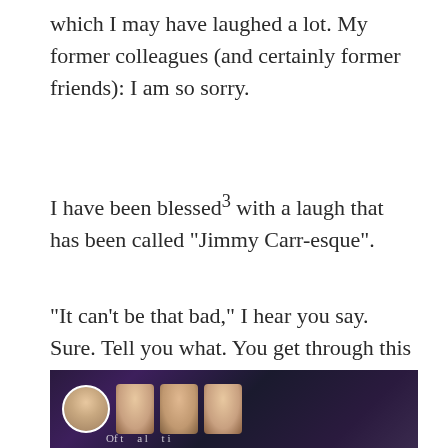which I may have laughed a lot. My former colleagues (and certainly former friends): I am so sorry.
I have been blessed³ with a laugh that has been called “Jimmy Carr-esque”.
“It can’t be that bad,” I hear you say. Sure. Tell you what. You get through this video that’s a mere 54 seconds without pausing, without plugging your own ears with wax, and I will accept that my laugh is not that bad.
[Figure (photo): A photo showing people (faces visible), appearing to be a video thumbnail or social media post with profile avatar on the left and several faces to the right, set against a dark purple/blue background.]